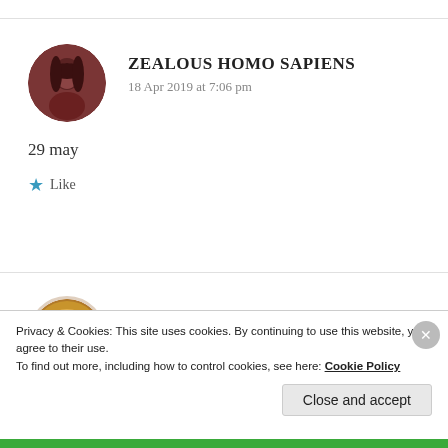ZEALOUS HOMO SAPIENS
18 Apr 2019 at 7:06 pm
29 may
★ Like
[Figure (other): Second commenter avatar (circular profile photo)]
Privacy & Cookies: This site uses cookies. By continuing to use this website, you agree to their use.
To find out more, including how to control cookies, see here: Cookie Policy